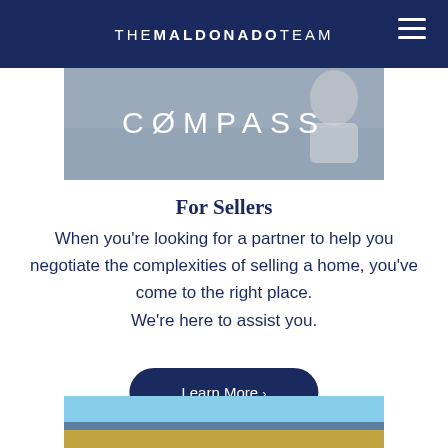THE MALDONADO TEAM
[Figure (photo): Hero image showing a person at a desk with COMPASS logo overlaid in white text]
For Sellers
When you're looking for a partner to help you negotiate the complexities of selling a home, you've come to the right place. We're here to assist you.
[Figure (screenshot): Learn More button in dark navy rounded rectangle]
[Figure (photo): Bottom partial image showing building roofline against blue sky]